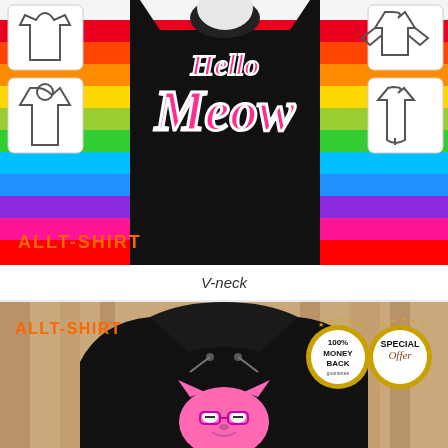[Figure (photo): Product listing image showing a black V-neck t-shirt with 'Hello Meow' pink cat graphic design, displayed against a rainbow striped background with clothing style icons on sides, 'ALLT-SHIRT' branding, and two gold quality badges.]
V-neck
[Figure (photo): Product listing image showing a black hoodie with pink cat 'Hello Meow' graphic, displayed against a curtain background with 'ALLT-SHIRT' branding and two gold badges reading '100% Money Back guarantee' and 'Special Offer'.]